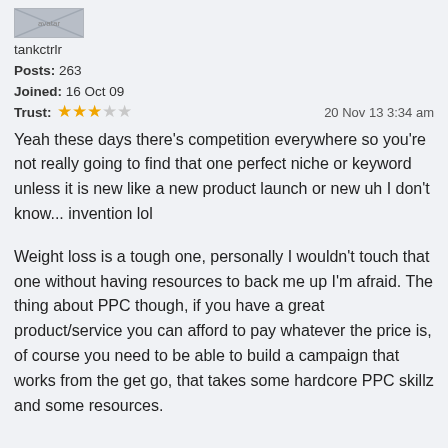[Figure (photo): User avatar image thumbnail at top of forum post]
tankctrlr
Posts: 263
Joined: 16 Oct 09
Trust: ★★★☆☆   20 Nov 13 3:34 am
Yeah these days there's competition everywhere so you're not really going to find that one perfect niche or keyword unless it is new like a new product launch or new uh I don't know... invention lol
Weight loss is a tough one, personally I wouldn't touch that one without having resources to back me up I'm afraid. The thing about PPC though, if you have a great product/service you can afford to pay whatever the price is, of course you need to be able to build a campaign that works from the get go, that takes some hardcore PPC skillz and some resources.